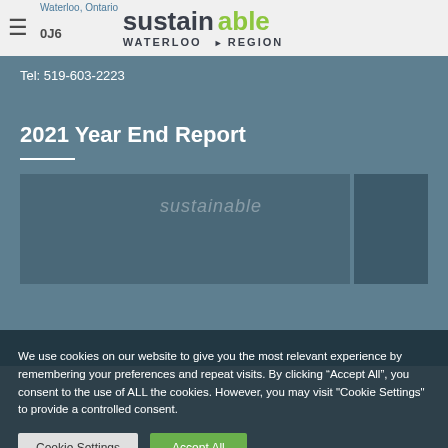Waterloo, Ontario
0J6
[Figure (logo): Sustainable Waterloo Region logo with 'sustainable' in dark gray/green and 'WATERLOO REGION' in dark gray capitals]
Tel: 519-603-2223
2021 Year End Report
[Figure (photo): Two-panel image placeholder with 'sustainable' watermark text, set against blue-gray background]
We use cookies on our website to give you the most relevant experience by remembering your preferences and repeat visits. By clicking "Accept All", you consent to the use of ALL the cookies. However, you may visit "Cookie Settings" to provide a controlled consent.
Cookie Settings
Accept All